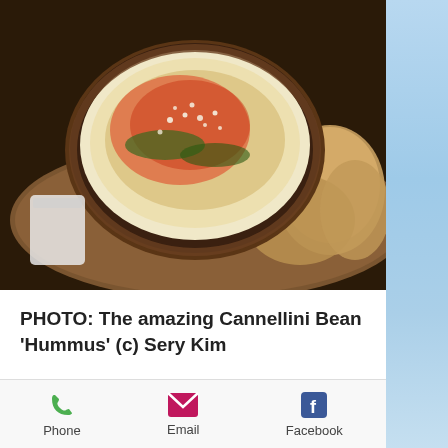[Figure (photo): Food photo showing a dish of Cannellini Bean Hummus in a bowl garnished with spices and herbs, with slices of bread alongside on a wooden board]
PHOTO:  The amazing Cannellini Bean 'Hummus' (c) Sery Kim
My mouth waters even thinking about the food at All Purpose Capitol Riverfront.  I ate the most marvelous blends of flavors, textures and temperatures mixed with eye-popping visuals of colors.  Take for the instance
Phone   Email   Facebook